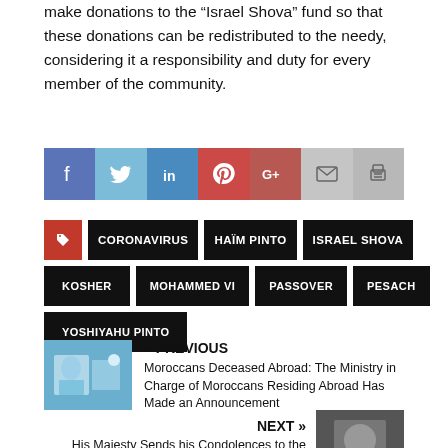make donations to the “Israel Shova” fund so that these donations can be redistributed to the needy, considering it a responsibility and duty for every member of the community.
[Figure (infographic): Social media sharing bar with buttons for Facebook, Twitter, LinkedIn, Pinterest, Google+, email, and print]
CORONAVIRUS
HAÏM PINTO
ISRAEL SHOVA
KOSHER
MOHAMMED VI
PASSOVER
PESACH
YOSHIYAHU PINTO
« PREVIOUS
Moroccans Deceased Abroad: The Ministry in Charge of Moroccans Residing Abroad Has Made an Announcement
NEXT »
His Majesty Sends his Condolences to the Botbol Family